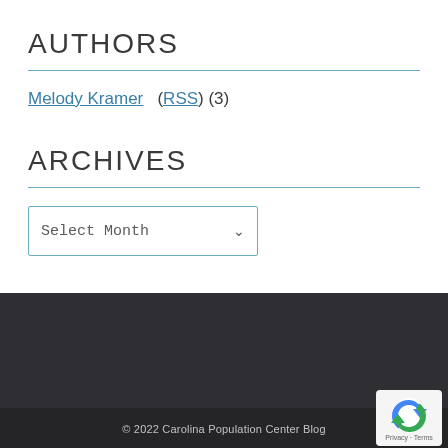AUTHORS
Melody Kramer  ( RSS ) (3)
ARCHIVES
Select Month
© 2022 Carolina Population Center Blog